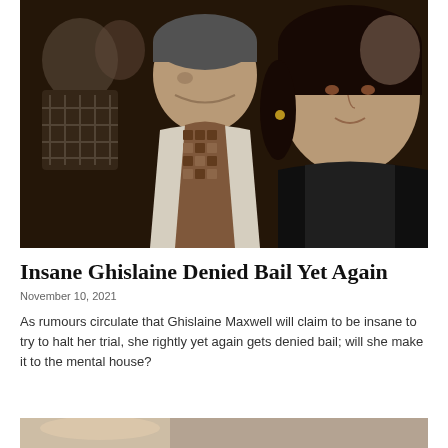[Figure (photo): Black and white vintage photo of a man in a patterned tie/scarf seated next to a woman with short dark hair wearing a black leather jacket, sitting in what appears to be an audience or event setting.]
Insane Ghislaine Denied Bail Yet Again
November 10, 2021
As rumours circulate that Ghislaine Maxwell will claim to be insane to try to halt her trial, she rightly yet again gets denied bail; will she make it to the mental house?
[Figure (photo): Partial view of a second photo at the bottom of the page, mostly cropped.]